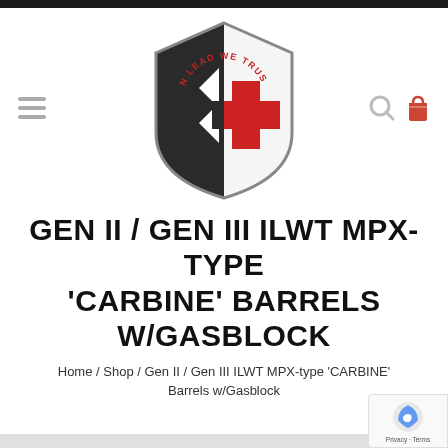[Figure (logo): In Lead We Trust shield logo with black and white shield, red Templar cross, and red arched text 'IN LEAD WE TRUST' at top]
GEN II / GEN III ILWT MPX-TYPE 'CARBINE' BARRELS W/GASBLOCK
Home / Shop / Gen II / Gen III ILWT MPX-type 'CARBINE' Barrels w/Gasblock